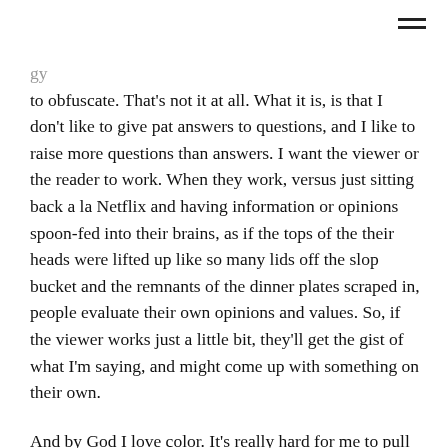to obfuscate. That's not it at all. What it is, is that I don't like to give pat answers to questions, and I like to raise more questions than answers. I want the viewer or the reader to work. When they work, versus just sitting back a la Netflix and having information or opinions spoon-fed into their brains, as if the tops of the their heads were lifted up like so many lids off the slop bucket and the remnants of the dinner plates scraped in, people evaluate their own opinions and values. So, if the viewer works just a little bit, they'll get the gist of what I'm saying, and might come up with something on their own.

And by God I love color. It's really hard for me to pull back on color. Even when you think I'm painting black, I'm painting color. It's not black, but more than likely